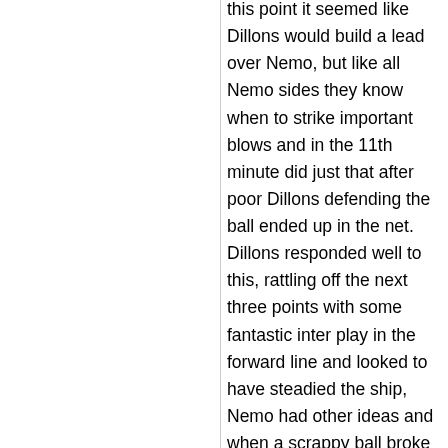this point it seemed like Dillons would build a lead over Nemo, but like all Nemo sides they know when to strike important blows and in the 11th minute did just that after poor Dillons defending the ball ended up in the net. Dillons responded well to this, rattling off the next three points with some fantastic inter play in the forward line and looked to have steadied the ship, Nemo had other ideas and when a scrappy ball broke a Nemo forward swung his leg at it on the half volley and found the bottom corner of the Dillons net in what was a fantastic looking goal to put them out in front again. This wasn't to be the end of Nemos ascendancy, three minutes later the ball was in the back of the net again with the Dillons defence on the ropes Nemo were giving them a lot with